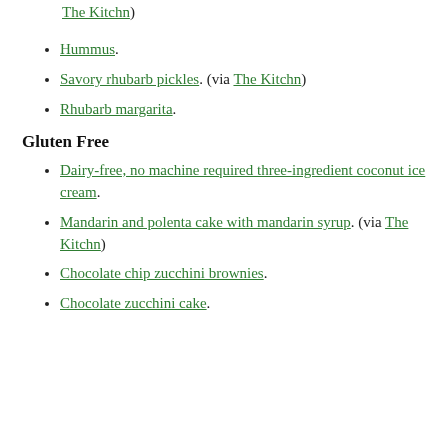The Kitchn).
Hummus.
Savory rhubarb pickles. (via The Kitchn)
Rhubarb margarita.
Gluten Free
Dairy-free, no machine required three-ingredient coconut ice cream.
Mandarin and polenta cake with mandarin syrup. (via The Kitchn)
Chocolate chip zucchini brownies.
Chocolate zucchini cake.